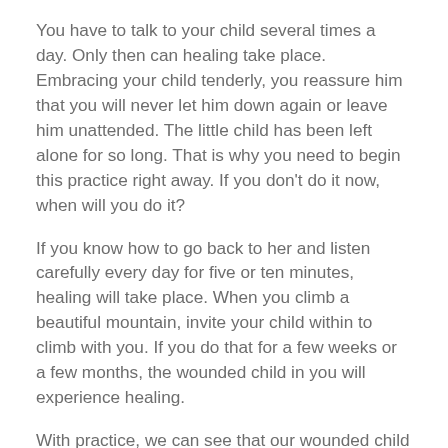You have to talk to your child several times a day. Only then can healing take place. Embracing your child tenderly, you reassure him that you will never let him down again or leave him unattended. The little child has been left alone for so long. That is why you need to begin this practice right away. If you don't do it now, when will you do it?
If you know how to go back to her and listen carefully every day for five or ten minutes, healing will take place. When you climb a beautiful mountain, invite your child within to climb with you. If you do that for a few weeks or a few months, the wounded child in you will experience healing.
With practice, we can see that our wounded child is not only us. Our wounded child may represent several generations. Our mother may have suffered throughout her life. Our father may have suffered. Perhaps our parents weren't able to look after the